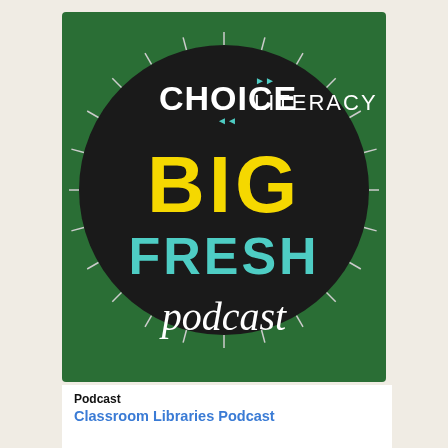[Figure (logo): Choice Literacy Big Fresh Podcast logo: dark green square background with large black circle containing the text 'CHOICE LITERACY' in white bold and thin fonts at top, 'BIG' in large yellow bold text, 'FRESH' in large teal/cyan bold text, and 'podcast' in white cursive/script font at bottom. The circle has radiating white tick marks around its perimeter like a sunburst.]
Podcast
Classroom Libraries Podcast